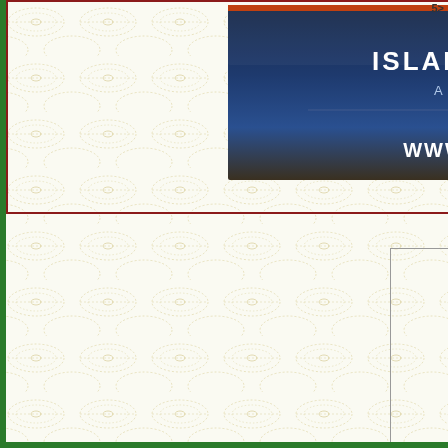[Figure (logo): Islam TV Australia banner advertisement with dark blue/gradient background. Text reads: ISLAM TV AUSTRALIA, A PEACEFUL WAY OF LIFE, FREE TO WATCH 24/7, WWW.ISLAMTV.COM.AU]
[Figure (illustration): Decorative background pattern with repeating dotted oval/ellipse shapes in cream/tan color across the entire page background. Two overlapping rectangular sections visible.]